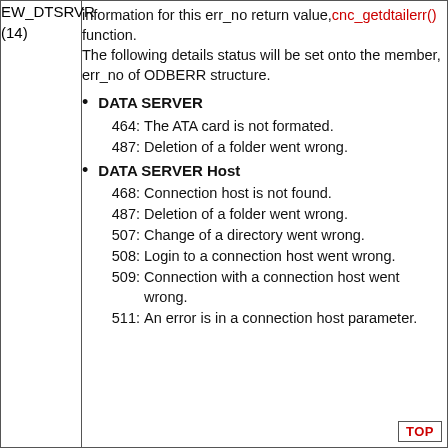|  |  |
| --- | --- |
| EW_DTSRVR
(14) | information for this err_no return value, cnc_getdtailerr() function.
The following details status will be set onto the member, err_no of ODBERR structure.
• DATA SERVER
  464: The ATA card is not formated.
  487: Deletion of a folder went wrong.
• DATA SERVER Host
  468: Connection host is not found.
  487: Deletion of a folder went wrong.
  507: Change of a directory went wrong.
  508: Login to a connection host went wrong.
  509: Connection with a connection host went wrong.
  511: An error is in a connection host parameter. |